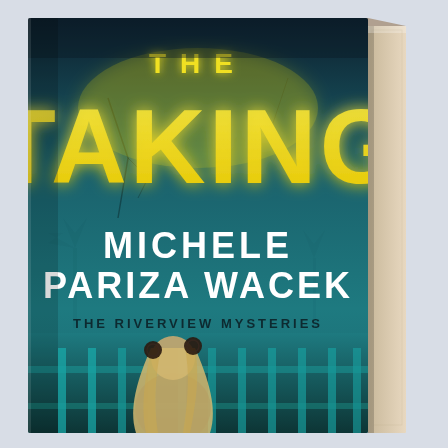[Figure (illustration): 3D rendered book cover for 'The Taking' by Michele Pariza Wacek. The book is shown in a three-quarter perspective view with the spine visible on the right. The cover has a dark teal/navy gradient background. At the top in large bold yellow/gold letters is 'THE TAKING'. Below in large white bold letters is 'MICHELE PARIZA WACEK'. Below the author name in smaller dark teal text is 'THE RIVERVIEW MYSTERIES'. At the bottom of the cover is an atmospheric image of a young girl with long blonde hair decorated with two dark bun accessories, seen from behind, standing behind what appears to be a crib railing or fence bars. The background has subtle cracked wall textures and faint windmill or tree silhouettes. The book spine is tan/cream colored. The overall image is set against a light grey background.]